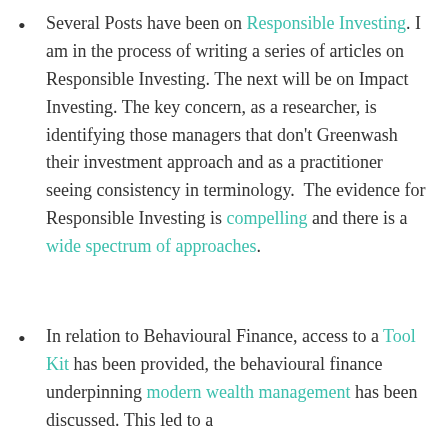Several Posts have been on Responsible Investing. I am in the process of writing a series of articles on Responsible Investing. The next will be on Impact Investing. The key concern, as a researcher, is identifying those managers that don't Greenwash their investment approach and as a practitioner seeing consistency in terminology. The evidence for Responsible Investing is compelling and there is a wide spectrum of approaches.
In relation to Behavioural Finance, access to a Tool Kit has been provided, the behavioural finance underpinning modern wealth management has been discussed. This led to a